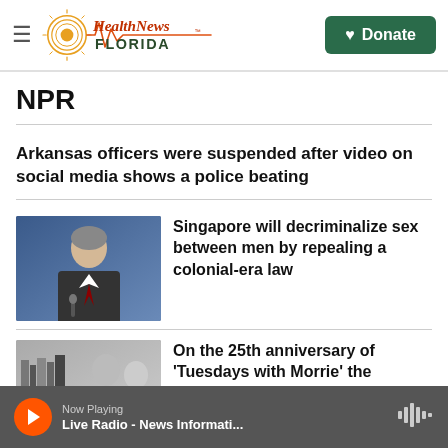Health News Florida — Navigation header with Donate button
NPR
Arkansas officers were suspended after video on social media shows a police beating
[Figure (photo): Photo of a man in a suit speaking at a podium, blue background]
Singapore will decriminalize sex between men by repealing a colonial-era law
[Figure (photo): Black and white photo of people with books]
On the 25th anniversary of 'Tuesdays with Morrie' the teaching goes on
Now Playing — Live Radio - News Informati...